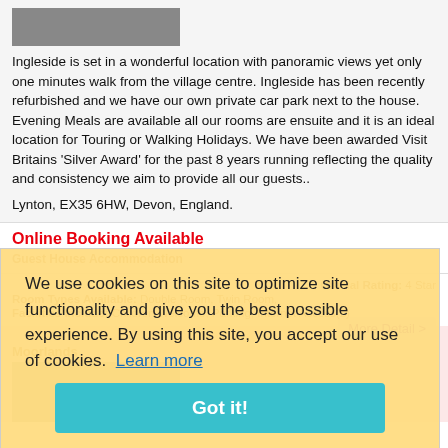[Figure (photo): Small photo of a bird or animal at the top left]
Ingleside is set in a wonderful location with panoramic views yet only one minutes walk from the village centre. Ingleside has been recently refurbished and we have our own private car park next to the house. Evening Meals are available all our rooms are ensuite and it is an ideal location for Touring or Walking Holidays. We have been awarded Visit Britains 'Silver Award' for the past 8 years running reflecting the quality and consistency we aim to provide all our guests..
Lynton, EX35 6HW, Devon, England.
Online Booking Available
Guest House Accommodation
Official Rating: 4 Star
Room Types Available: Double Room, Twin Room,
Facilities Include: Children Welcome, Parking, Internet Access(£)
We use cookies on this site to optimize site functionality and give you the best possible experience. By using this site, you accept our use of cookies.  Learn more
Got it!
More Detail >
Moorlands
[Figure (photo): Photo of Moorlands property]